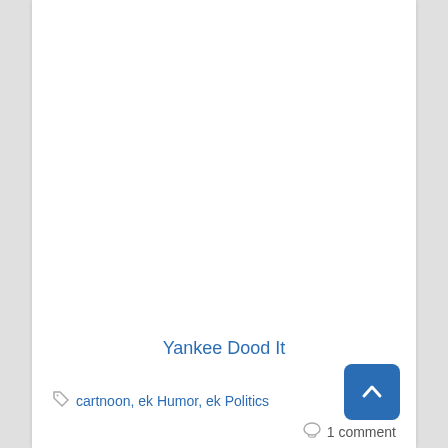Yankee Dood It
cartnoon, ek Humor, ek Politics
1 comment